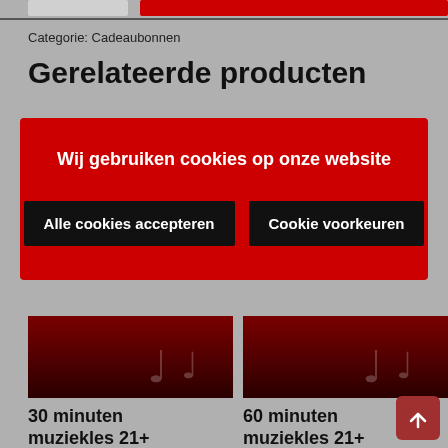Categorie: Cadeaubonnen
Gerelateerde producten
Wij gebruiken cookies op onze website
Alle cookies accepteren | Cookie voorkeuren
[Figure (screenshot): Product card with dark red background and music note icons for '30 minuten muziekles 21+']
30 minuten muziekles 21+
[Figure (screenshot): Product card with dark red background and music note icons for '60 minuten muziekles 21+']
60 minuten muziekles 21+